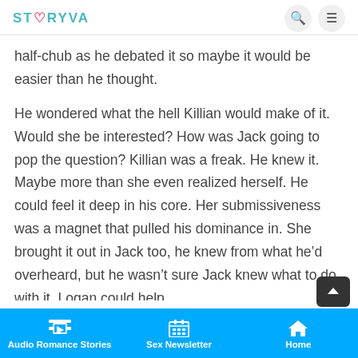STORYVA
half-chub as he debated it so maybe it would be easier than he thought.
He wondered what the hell Killian would make of it. Would she be interested? How was Jack going to pop the question? Killian was a freak. He knew it. Maybe more than she even realized herself. He could feel it deep in his core. Her submissiveness was a magnet that pulled his dominance in. She brought it out in Jack too, he knew from what he’d overheard, but he wasn’t sure Jack knew what to do with it. Logan could help.
Audio Romance Stories | Sex Newsletter | Home